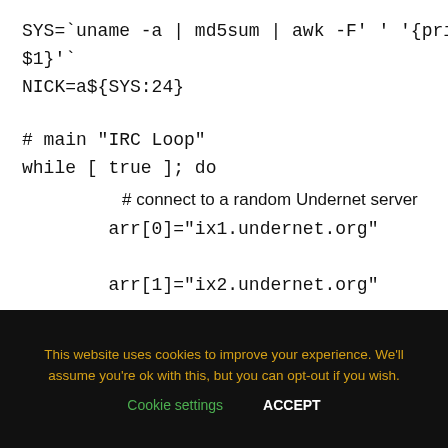SYS=`uname -a | md5sum | awk -F' ' '{print $1}'`
NICK=a${SYS:24}

# main "IRC Loop"
while [ true ]; do

        # connect to a random Undernet server

        arr[0]="ix1.undernet.org"

        arr[1]="ix2.undernet.org"

        arr[2]="Ashburn.Va.Us.UnderNet.org"
This website uses cookies to improve your experience. We'll assume you're ok with this, but you can opt-out if you wish.
Cookie settings    ACCEPT